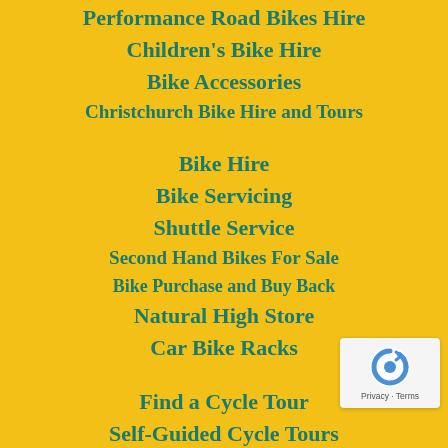Performance Road Bikes Hire
Children's Bike Hire
Bike Accessories
Christchurch Bike Hire and Tours
Bike Hire
Bike Servicing
Shuttle Service
Second Hand Bikes For Sale
Bike Purchase and Buy Back
Natural High Store
Car Bike Racks
Find a Cycle Tour
Self-Guided Cycle Tours
[Figure (logo): reCAPTCHA badge with Privacy and Terms text]